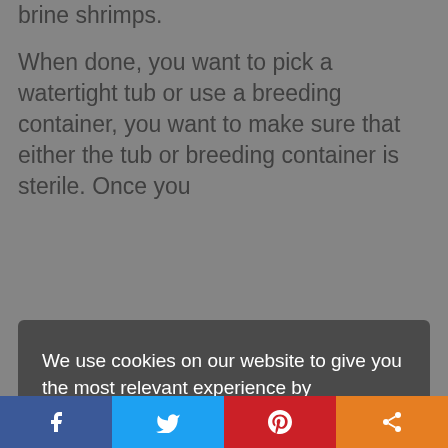brine shrimps. When done, you want to pick a watertight tub or use a breeding container, you want to make sure that either the tub or breeding container is sterile. Once you
We use cookies on our website to give you the most relevant experience by remembering your preferences and repeat visits. By clicking “Accept”, you consent to the use of ALL the cookies. Read More
Cookie settings
ACCEPT
Once you place them inside the tank, you want to close it and then use a blanket to cover the whole tub with the fishes present and let it sit out for the night. The blanket is